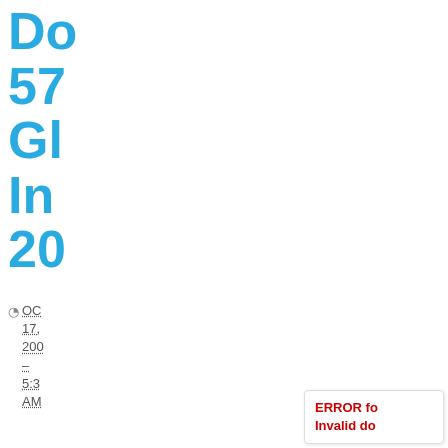Do 57 Gl In 20
OC 17, 200 – 5:3 AM
The numb of comm prope trans has dropp off signi in the past tha...
ERROR fo Invalid do